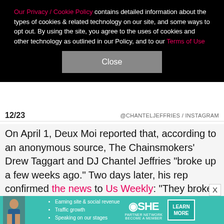Our Privacy / Cookie Policy contains detailed information about the types of cookies & related technology on our site, and some ways to opt out. By using the site, you agree to the uses of cookies and other technology as outlined in our Policy, and to our Terms of Use
Close
12/23   @CHANTELJEFFRIES / INSTAGRAM
On April 1, Deux Moi reported that, according to an anonymous source, The Chainsmokers' Drew Taggart and DJ Chantel Jeffries "broke up a few weeks ago." Two days later, his rep confirmed the news to Us Weekly: "They broke up a month ago. It was an amicable breakup, and they remain friends," said the rep. The duo, who were first linked in early 2020, confirmed they were dating over the summer.
[Figure (infographic): SHE Partner Network advertisement banner with photo of woman, bullet points about earning site & social revenue, traffic growth, speaking on our stages, SHE logo, and LEARN MORE button]